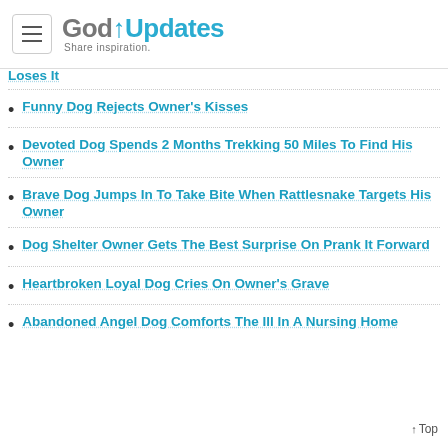GodUpdates — Share inspiration.
Loses It
Funny Dog Rejects Owner's Kisses
Devoted Dog Spends 2 Months Trekking 50 Miles To Find His Owner
Brave Dog Jumps In To Take Bite When Rattlesnake Targets His Owner
Dog Shelter Owner Gets The Best Surprise On Prank It Forward
Heartbroken Loyal Dog Cries On Owner's Grave
Abandoned Angel Dog Comforts The Ill In A Nursing Home